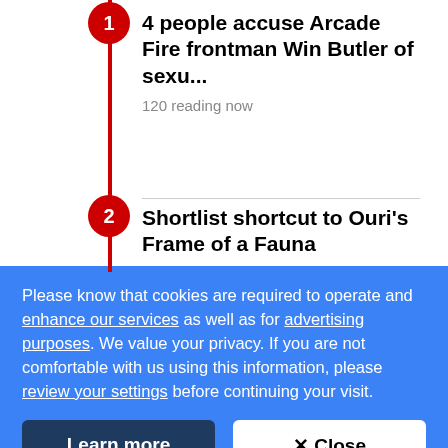4 people accuse Arcade Fire frontman Win Butler of sexu... — 120 reading now
Shortlist shortcut to Ouri's Frame of a Fauna
Grieving, dreaming and 'Drinking in L.A'
Please know that cookies are required to operate and enhance our services as well as for advertising purposes. We value your privacy. If you are not comfortable with us using this information, please review your settings before continuing your visit.